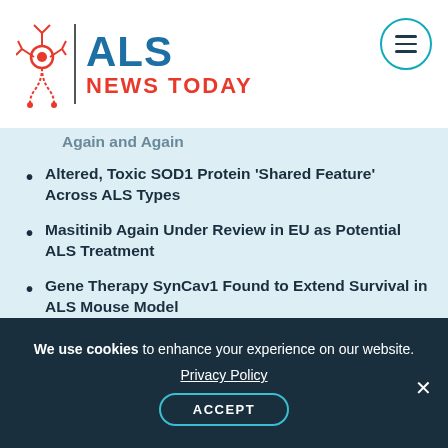[Figure (logo): ALS News Today logo with neuron icon, vertical divider, ALS in blue bold text and NEWS TODAY in red bold text]
Again and Again
Altered, Toxic SOD1 Protein ‘Shared Feature’ Across ALS Types
Masitinib Again Under Review in EU as Potential ALS Treatment
Gene Therapy SynCav1 Found to Extend Survival in ALS Mouse Model
How ALS Weakness Made My Husband Stronger
I Feel It When I Lose a Coping Mechanism for Stress
Approved Medication Terazosin May Be
We use cookies to enhance your experience on our website. Privacy Policy ACCEPT